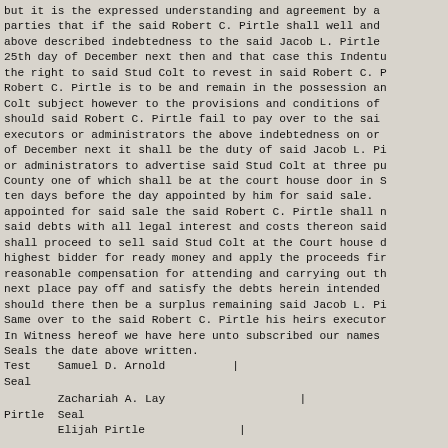but it is the expressed understanding and agreement by a parties that if the said Robert C. Pirtle shall well and above described indebtedness to the said Jacob L. Pirtle 25th day of December next then and that case this Indentu the right to said Stud Colt to revest in said Robert C. P Robert C. Pirtle is to be and remain in the possession an Colt subject however to the provisions and conditions of should said Robert C. Pirtle fail to pay over to the sai executors or administrators the above indebtedness on or of December next it shall be the duty of said Jacob L. Pi or administrators to advertise said Stud Colt at three pu County one of which shall be at the court house door in S ten days before the day appointed by him for said sale. appointed for said sale the said Robert C. Pirtle shall n said debts with all legal interest and costs thereon said shall proceed to sell said Stud Colt at the Court house d highest bidder for ready money and apply the proceeds fir reasonable compensation for attending and carrying out th next place pay off and satisfy the debts herein intended should there then be a surplus remaining said Jacob L. Pi Same over to the said Robert C. Pirtle his heirs executor In Witness hereof we have here unto subscribed our names Seals the date above written.
Test    Samuel D. Arnold          |
Seal
Zachariah A. Lay                    |
Pirtle  Seal
        Elijah Pirtle              |
State of Tennessee      |
White County            |      Personally appeared before